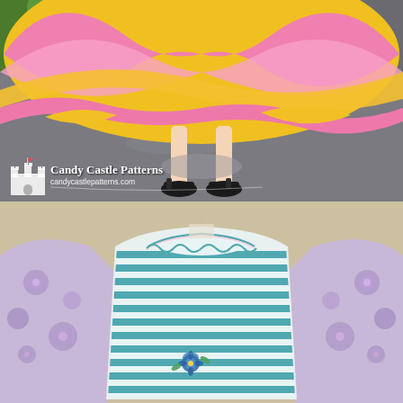[Figure (photo): Child's legs and feet wearing black sandals on pavement, twirling a pink and yellow striped full-circle skirt. Green grass visible in upper left. Candy Castle Patterns logo with castle icon and website candycastlepatterns.com in lower left.]
[Figure (photo): Children's sleeveless dress laid flat on a cream/beige background. The dress features teal/aqua horizontal stripes on the bodice with a ruffled neckline, lavender sleeves and lower portion with purple floral print, and a flower applique at the waist.]